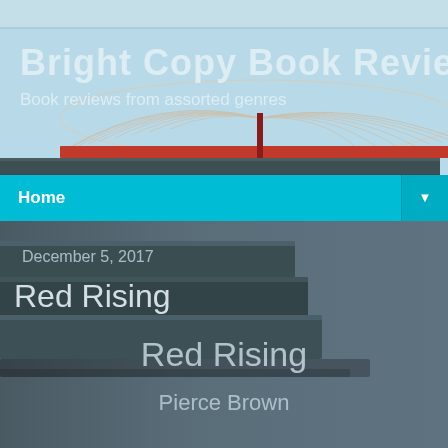[Figure (screenshot): Website header background with light blue color and stacked books illustration with an open book on top]
Bright Copy Book Review
Book reviews from assorted genres
Home ▼
December 5, 2017
Red Rising
Red Rising
Pierce Brown